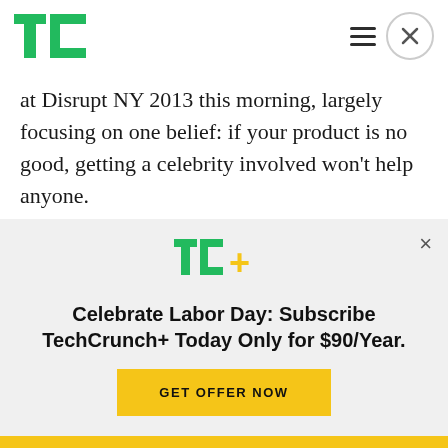TechCrunch logo and navigation bar
at Disrupt NY 2013 this morning, largely focusing on one belief: if your product is no good, getting a celebrity involved won't help anyone.
This comes, of course, as the trend of getting celebrities involved in tech projects (either as investors or featured users) is at an all-time high. Will.i.am invested in Airtime. Justin Timberlake is
[Figure (logo): TC+ logo (TechCrunch+ green and yellow wordmark)]
Celebrate Labor Day: Subscribe TechCrunch+ Today Only for $90/Year.
GET OFFER NOW